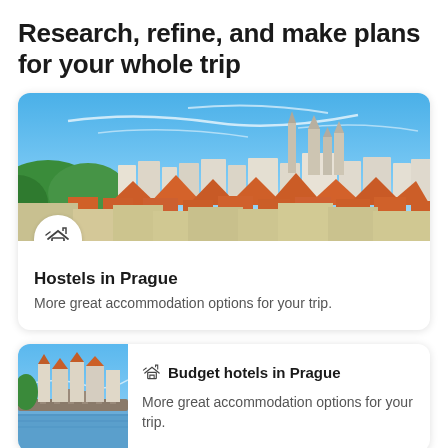Research, refine, and make plans for your whole trip
[Figure (photo): Panoramic photo of Prague skyline with orange-roofed buildings, green hills, and a cathedral under blue sky. A hostel/accommodation icon is overlaid at bottom-left.]
Hostels in Prague
More great accommodation options for your trip.
[Figure (photo): Thumbnail photo of Prague city with blue sky and old bridge, shown in the Budget hotels in Prague card.]
Budget hotels in Prague
More great accommodation options for your trip.